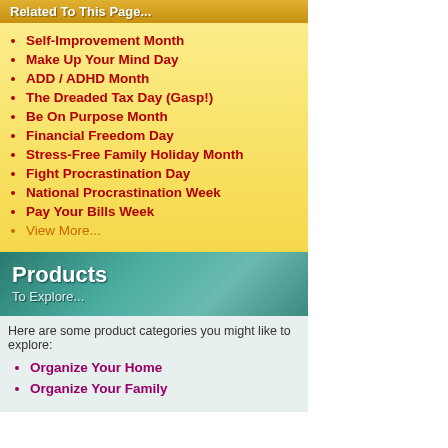Related To This Page...
Self-Improvement Month
Make Up Your Mind Day
ADD / ADHD Month
The Dreaded Tax Day (Gasp!)
Be On Purpose Month
Financial Freedom Day
Stress-Free Family Holiday Month
Fight Procrastination Day
National Procrastination Week
Pay Your Bills Week
View More...
Products To Explore...
Here are some product categories you might like to explore:
Organize Your Home
Organize Your Family